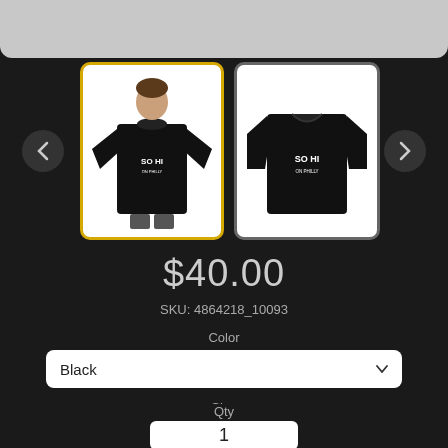[Figure (screenshot): Product page screenshot showing black long-sleeve shirt with SO HI ON PHILLY branding. Two thumbnail images with navigation arrows. Price $40.00, SKU 4864218_10093, Color dropdown set to Black, Size dropdown set to XS, Qty field showing 1.]
$40.00
SKU: 4864218_10093
Color
Black
Size
XS
Qty
1